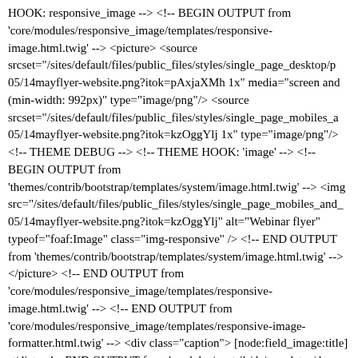HOOK: responsive_image --> <!-- BEGIN OUTPUT from 'core/modules/responsive_image/templates/responsive-image.html.twig' --> <picture> <source srcset="/sites/default/files/public_files/styles/single_page_desktop/p 05/14mayflyer-website.png?itok=pAxjaXMh 1x" media="screen and (min-width: 992px)" type="image/png"/> <source srcset="/sites/default/files/public_files/styles/single_page_mobiles_a 05/14mayflyer-website.png?itok=kzOggYlj 1x" type="image/png"/> <!-- THEME DEBUG --> <!-- THEME HOOK: 'image' --> <!-- BEGIN OUTPUT from 'themes/contrib/bootstrap/templates/system/image.html.twig' --> <img src="/sites/default/files/public_files/styles/single_page_mobiles_and_ 05/14mayflyer-website.png?itok=kzOggYlj" alt="Webinar flyer" typeof="foaf:Image" class="img-responsive" /> <!-- END OUTPUT from 'themes/contrib/bootstrap/templates/system/image.html.twig' --> </picture> <!-- END OUTPUT from 'core/modules/responsive_image/templates/responsive-image.html.twig' --> <!-- END OUTPUT from 'core/modules/responsive_image/templates/responsive-image-formatter.html.twig' --> <div class="caption"> [node:field_image:title]</div> <!-- END OUTPUT from 'modules/contrib/ds/templates/ds-field-expert.html.twig' --> <!-- THEME DEBUG --> <!-- THEME HOOK: 'field' --> <!-- FILE NAME SUGGESTIONS: * field--node-post-date--...